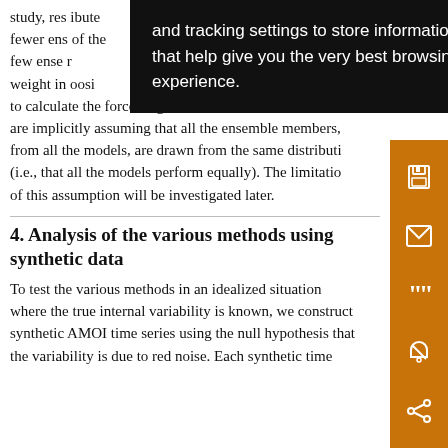study, res... ibute fewer ens... of the few ense... weight in... oosi to calculate the forced signal as a multiensemble mean are implicitly assuming that all the ensemble members, from all the models, are drawn from the same distribution (i.e., that all the models perform equally). The limitation of this assumption will be investigated later.
4. Analysis of the various methods using synthetic data
To test the various methods in an idealized situation where the true internal variability is known, we construct synthetic AMOI time series using the null hypothesis that the variability is due to red noise. Each synthetic time